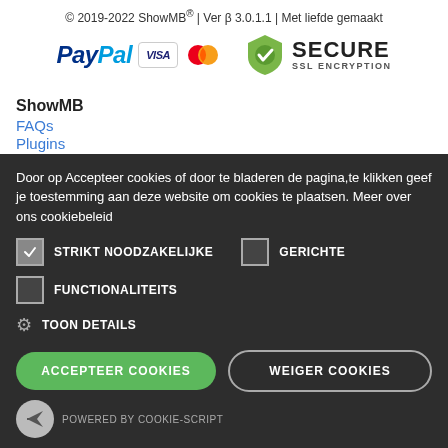© 2019-2022 ShowMB® | Ver β 3.0.1.1 | Met liefde gemaakt
[Figure (logo): PayPal logo with VISA and MasterCard badges, and Secure SSL Encryption badge]
ShowMB
FAQs
Plugins
Influencer Marketing
Door op Accepteer cookies of door te bladeren de pagina,te klikken geef je toestemming aan deze website om cookies te plaatsen. Meer over ons cookiebeleid
STRIKT NOODZAKELIJKE
GERICHTE
FUNCTIONALITEITS
TOON DETAILS
ACCEPTEER COOKIES
WEIGER COOKIES
POWERED BY COOKIE-SCRIPT